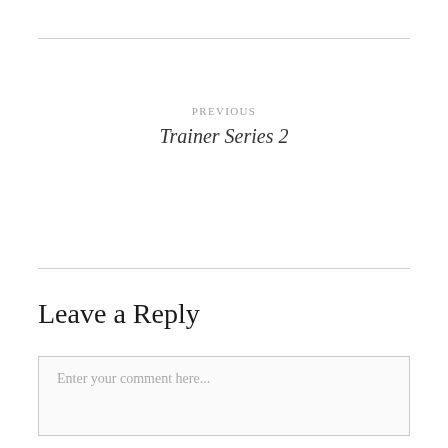PREVIOUS
Trainer Series 2
Leave a Reply
Enter your comment here...